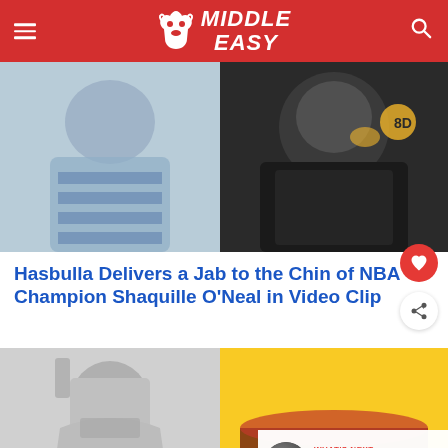MiddleEasy
[Figure (photo): Two-panel image: left shows a child in a blue striped shirt, right shows a large person in a black jacket with a crown logo sitting down]
Hasbulla Delivers a Jab to the Chin of NBA Champion Shaquille O'Neal in Video Clip
[Figure (photo): Two-panel image: left shows a man with dark slicked hair in a kitchen, right shows a colorful dessert/drink with yellow and dark layers. Bottom right shows a 'What's Next' widget with Dana White thumbnail and text 'Dana White Reacts To...']